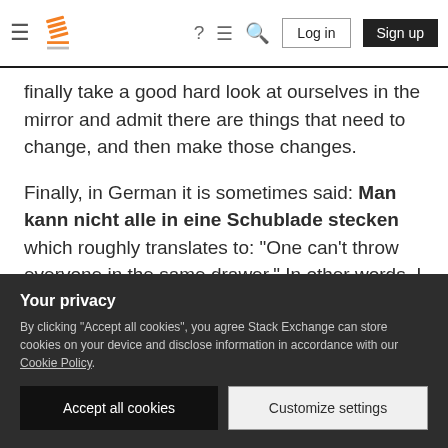Stack Overflow navigation header with hamburger menu, logo, help, chat, search icons, Log in and Sign up buttons
finally take a good hard look at ourselves in the mirror and admit there are things that need to change, and then make those changes.

Finally, in German it is sometimes said: Man kann nicht alle in eine Schublade stecken which roughly translates to: "One can't throw everyone in the same drawer." In other words, I don't want to make the claim that everyone on SO has made the community a toxic place, or that there aren't even people fighting actively in the trenches to help the
Your privacy
By clicking "Accept all cookies", you agree Stack Exchange can store cookies on your device and disclose information in accordance with our Cookie Policy.
Accept all cookies
Customize settings